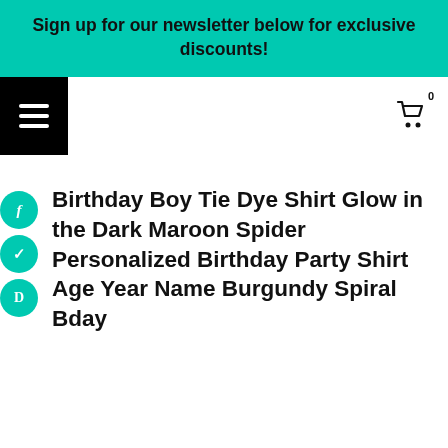Sign up for our newsletter below for exclusive discounts!
Birthday Boy Tie Dye Shirt Glow in the Dark Maroon Spider Personalized Birthday Party Shirt Age Year Name Burgundy Spiral Bday